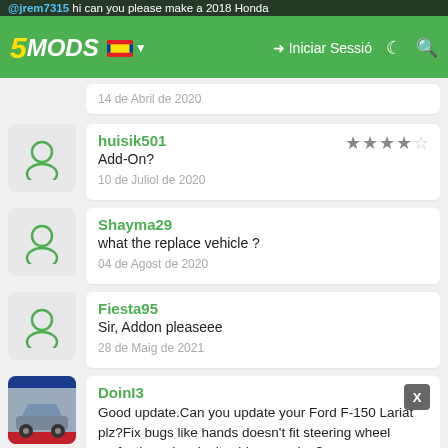5MODS — Iniciar Sessió header bar with Catalan flag
@jrem7315 hi can you please make a 2018 Honda
14 de Abril de 2020
huisik501
Add-On?
10 de Juliol de 2020
Shayma29
what the replace vehicle ?
04 de Agost de 2020
Fiesta95
Sir, Addon pleaseee
28 de Maig de 2021
DoinI3
Good update.Can you update your Ford F-150 Lariat plz?Fix bugs like hands doesn't fit steering wheel perfectly and make it add-on version?